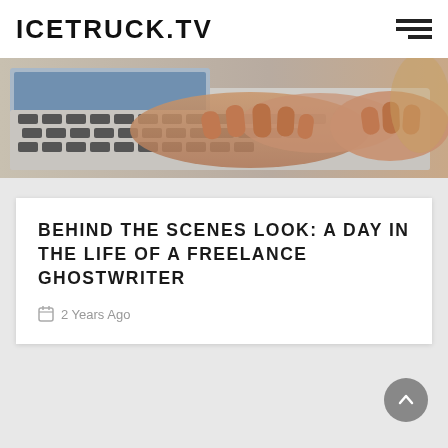ICETRUCK.TV
[Figure (photo): Close-up photo of a person's hands typing on a laptop keyboard, showing fingers resting on the keys.]
BEHIND THE SCENES LOOK: A DAY IN THE LIFE OF A FREELANCE GHOSTWRITER
2 Years Ago